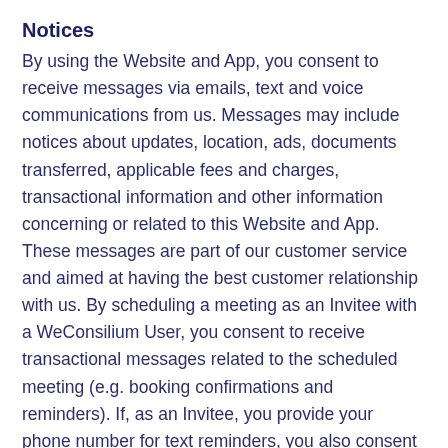Notices
By using the Website and App, you consent to receive messages via emails, text and voice communications from us. Messages may include notices about updates, location, ads, documents transferred, applicable fees and charges, transactional information and other information concerning or related to this Website and App. These messages are part of our customer service and aimed at having the best customer relationship with us. By scheduling a meeting as an Invitee with a WeConsilium User, you consent to receive transactional messages related to the scheduled meeting (e.g. booking confirmations and reminders). If, as an Invitee, you provide your phone number for text reminders, you also consent to receive SMS text reminders from WeConsilium related to the scheduled meeting between you and the WeConsilium User.